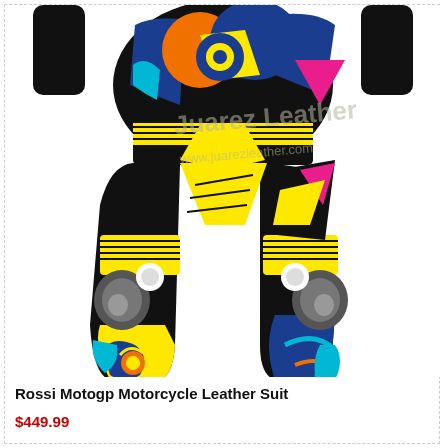[Figure (illustration): A colorful motorcycle leather racing suit displayed on a mannequin-like figure, featuring black, yellow, blue, orange, pink, and cyan geometric patterns. The suit has visible knee sliders and shoulder/elbow protection. A watermark reads 'Juarez Leather' and 'www.juarezleather.com'.]
Rossi Motogp Motorcycle Leather Suit
$449.99